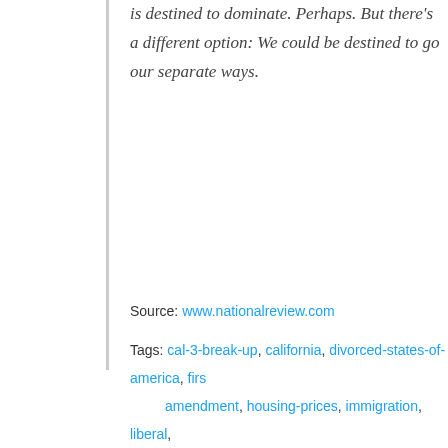is destined to dominate. Perhaps. But there's a different option: We could be destined to go our separate ways.
[Figure (other): Tweet button with Twitter bird logo]
Source: www.nationalreview.com
Tags: cal-3-break-up, california, divorced-states-of-america, first-amendment, housing-prices, immigration, liberal, polarization, poverty, preferred-pronoun, progressive, wealthy